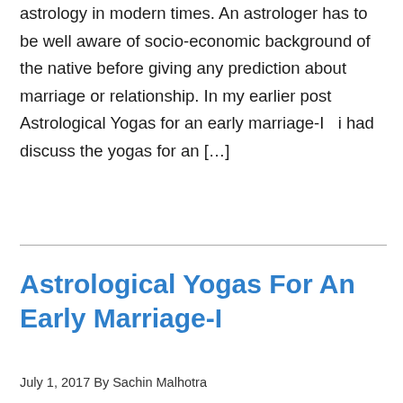astrology in modern times. An astrologer has to be well aware of socio-economic background of the native before giving any prediction about marriage or relationship. In my earlier post Astrological Yogas for an early marriage-I   i had discuss the yogas for an […]
Astrological Yogas For An Early Marriage-I
July 1, 2017 By Sachin Malhotra